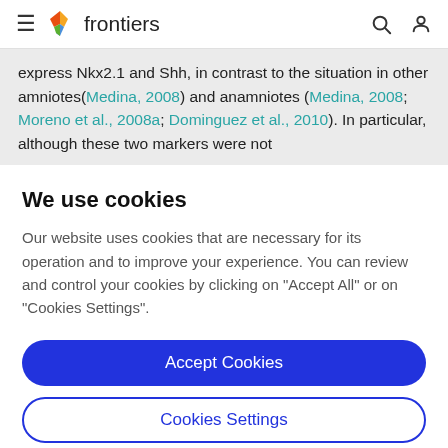frontiers
express Nkx2.1 and Shh, in contrast to the situation in other amniotes(Medina, 2008) and anamniotes (Medina, 2008; Moreno et al., 2008a; Dominguez et al., 2010). In particular, although these two markers were not
We use cookies
Our website uses cookies that are necessary for its operation and to improve your experience. You can review and control your cookies by clicking on "Accept All" or on "Cookies Settings".
Accept Cookies
Cookies Settings